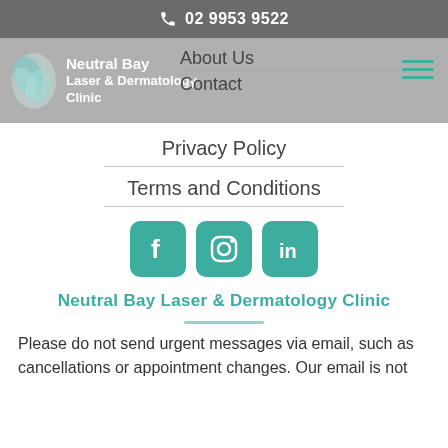02 9953 9522
[Figure (logo): Neutral Bay Laser & Dermatology Clinic logo with teal leaf design]
About Us
Contact
Privacy Policy
Terms and Conditions
[Figure (infographic): Social media icons: Facebook, Instagram, LinkedIn in teal rounded square style]
Neutral Bay Laser & Dermatology Clinic
Please do not send urgent messages via email, such as cancellations or appointment changes. Our email is not